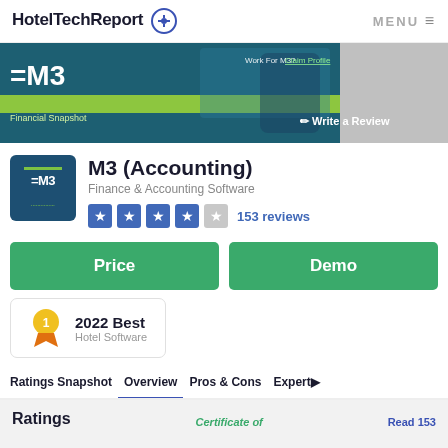HotelTechReport MENU
[Figure (screenshot): M3 Financial Snapshot product banner with teal background, green stripe, laptop, phone, and hand. Includes 'Work For M3? Claim Profile' text and 'Write a Review' button.]
M3 (Accounting)
Finance & Accounting Software
153 reviews
Price
Demo
2022 Best Hotel Software
Ratings Snapshot  Overview  Pros & Cons  Expert
Ratings  Certificate of  Read 153